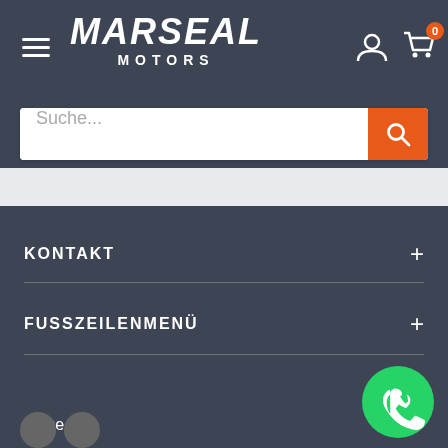[Figure (logo): Marseal Motors logo — white bold italic text on dark background]
Suche...
KONTAKT
FUSSZEILENMENÜ
Folge uns
[Figure (illustration): WhatsApp green circle button with phone icon]